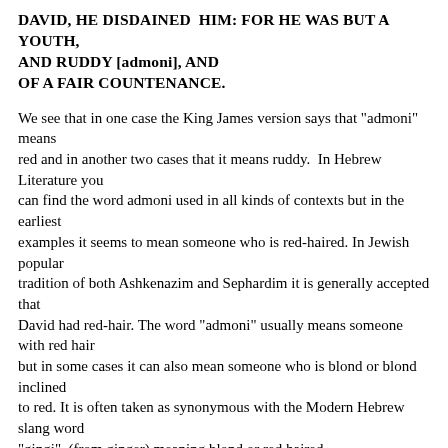DAVID, HE DISDAINED HIM: FOR HE WAS BUT A YOUTH, AND RUDDY [admoni], AND OF A FAIR COUNTENANCE.
We see that in one case the King James version says that "admoni" means red and in another two cases that it means ruddy.  In Hebrew Literature you can find the word admoni used in all kinds of contexts but in the earliest examples it seems to mean someone who is red-haired. In Jewish popular tradition of both Ashkenazim and Sephardim it is generally accepted that David had red-hair. The word "admoni" usually means someone with red hair but in some cases it can also mean someone who is blond or blond inclined to red. It is often taken as synonymous with the Modern Hebrew slang word "gingi"  (from ginger) meaning blond or red haired.
At all events concerning Esau and David  even though one could perhaps conceivably interpret "admoni"  to mean ruddy in